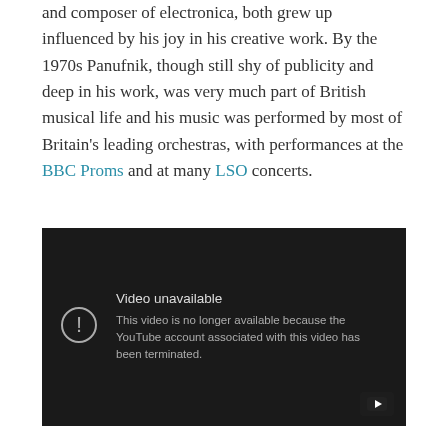and composer of electronica, both grew up influenced by his joy in his creative work. By the 1970s Panufnik, though still shy of publicity and deep in his work, was very much part of British musical life and his music was performed by most of Britain's leading orchestras, with performances at the BBC Proms and at many LSO concerts.
[Figure (screenshot): YouTube video embed showing 'Video unavailable' error: 'This video is no longer available because the YouTube account associated with this video has been terminated.']